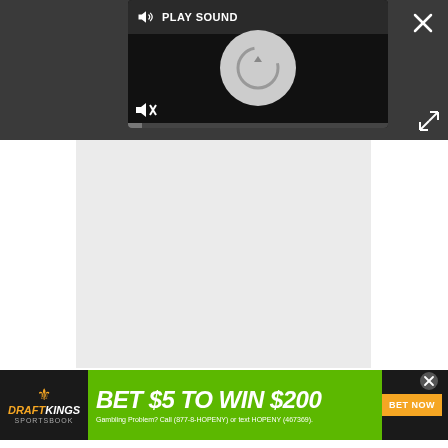[Figure (screenshot): Video player UI with dark background, showing a 'PLAY SOUND' button with speaker icon, a loading/refresh circle, mute button, and progress bar. There is a close X button top right and expand arrows bottom right of the overlay area.]
[Figure (screenshot): Light grey blank video placeholder content area.]
[Figure (screenshot): DraftKings Sportsbook advertisement banner: 'BET $5 TO WIN $200' on green background with orange crown logo, 'BET NOW' orange button, and text 'Gambling Problem? Call (877-8-HOPENY) or text HOPENY (467369).']